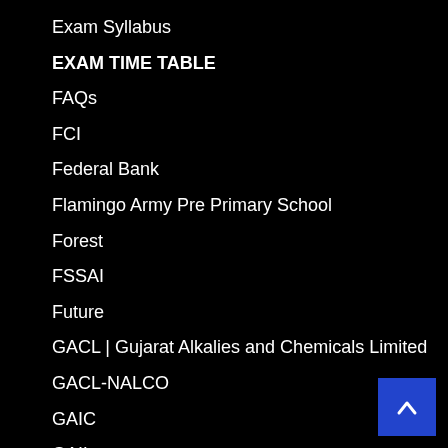Exam Syllabus
EXAM TIME TABLE
FAQs
FCI
Federal Bank
Flamingo Army Pre Primary School
Forest
FSSAI
Future
GACL | Gujarat Alkalies and Chemicals Limited
GACL-NALCO
GAIC
GAIL
GAIL INDIA
Gandhidham
Gandhi…